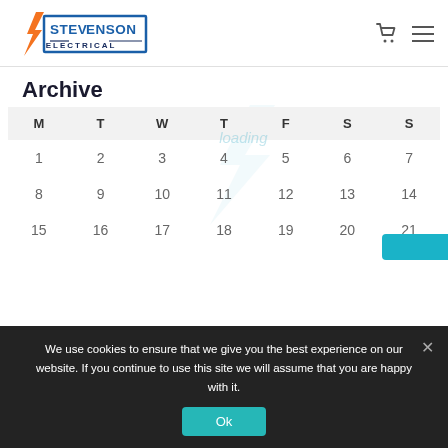[Figure (logo): Stevenson Electrical logo with orange lightning bolt and blue rectangular border, cart icon and hamburger menu on right]
Archive
| M | T | W | T | F | S | S |
| --- | --- | --- | --- | --- | --- | --- |
| 1 | 2 | 3 | 4 | 5 | 6 | 7 |
| 8 | 9 | 10 | 11 | 12 | 13 | 14 |
| 15 | 16 | 17 | 18 | 19 | 20 | 21 |
We use cookies to ensure that we give you the best experience on our website. If you continue to use this site we will assume that you are happy with it.